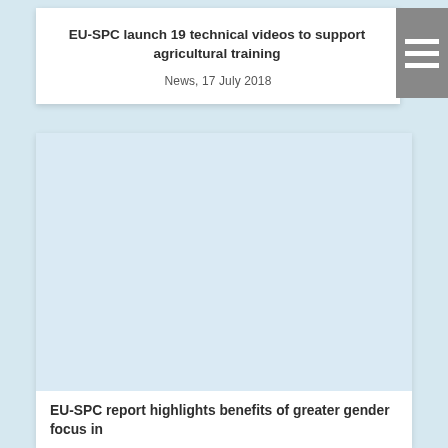EU-SPC launch 19 technical videos to support agricultural training
News, 17 July 2018
[Figure (photo): Large image placeholder area (light blue/white background), likely an embedded video or image related to EU-SPC agricultural training content]
EU-SPC report highlights benefits of greater gender focus in